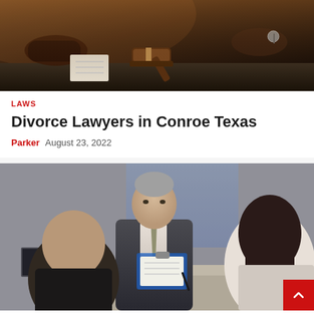[Figure (photo): Close-up of a gavel on a table with people's hands visible during a legal negotiation or meeting]
LAWS
Divorce Lawyers in Conroe Texas
Parker  August 23, 2022
[Figure (photo): A suited lawyer or mediator pointing at a clipboard across a table from a man and a woman, a legal consultation or divorce mediation scene]
LAWS
Pay Disparity Between Doctors and Lawyers